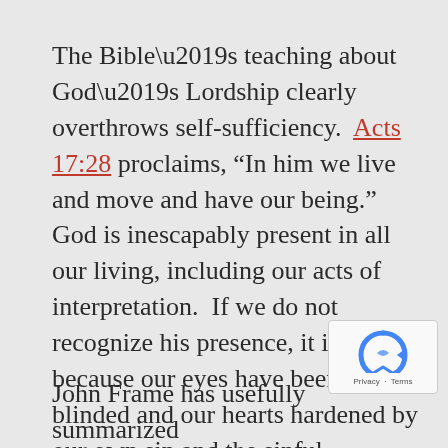The Bible’s teaching about God’s Lordship clearly overthrows self-sufficiency. Acts 17:28 proclaims, “In him we live and move and have our being.” God is inescapably present in all our living, including our acts of interpretation. If we do not recognize his presence, it is because our eyes have been blinded and our hearts hardened by our own sin and the sinful influences of the culture around us. Explicit reflection on God’s Lordship can help to overcome our sinful blindness.
John Frame has usefully summarized